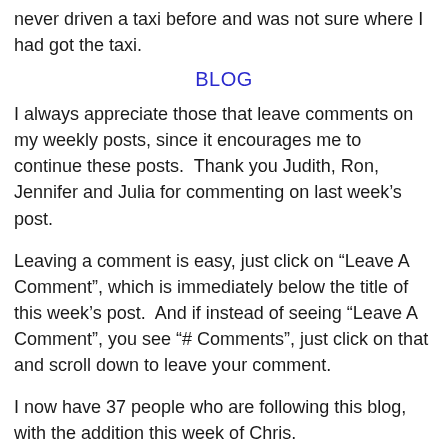never driven a taxi before and was not sure where I had got the taxi.
BLOG
I always appreciate those that leave comments on my weekly posts, since it encourages me to continue these posts.  Thank you Judith, Ron, Jennifer and Julia for commenting on last week’s post.
Leaving a comment is easy, just click on “Leave A Comment”, which is immediately below the title of this week’s post.  And if instead of seeing “Leave A Comment”, you see “# Comments”, just click on that and scroll down to leave your comment.
I now have 37 people who are following this blog, with the addition this week of Chris.